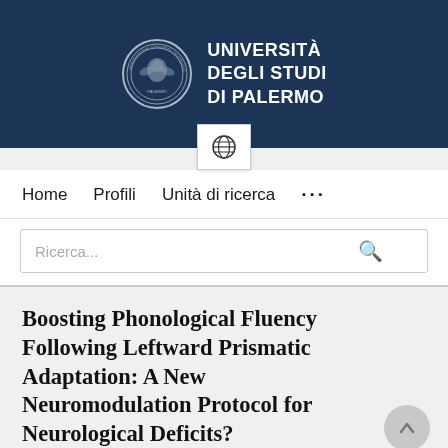[Figure (logo): University of Palermo logo: circular seal on the left, text 'UNIVERSITÀ DEGLI STUDI DI PALERMO' on the right, on a dark navy blue background]
[Figure (other): Globe/language selector icon button centered below the header banner]
Home   Profili   Unità di ricerca   ...
Ricerca...
Boosting Phonological Fluency Following Leftward Prismatic Adaptation: A New Neuromodulation Protocol for Neurological Deficits?